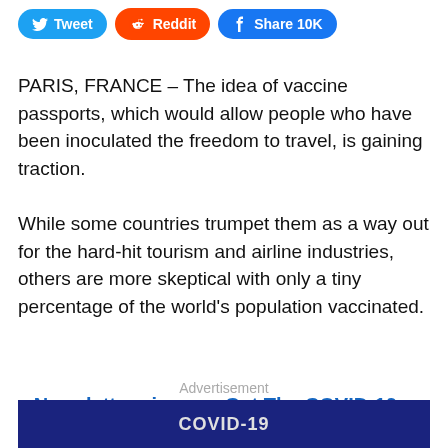[Figure (screenshot): Social share buttons: Tweet (Twitter, blue), Reddit (orange), Share 10K (Facebook, blue)]
PARIS, FRANCE – The idea of vaccine passports, which would allow people who have been inoculated the freedom to travel, is gaining traction.
While some countries trumpet them as a way out for the hard-hit tourism and airline industries, others are more skeptical with only a tiny percentage of the world's population vaccinated.
Advertisement
Newsletter sign-up: Get The COVID-19 Brief sent to your inbox
[Figure (screenshot): Partial image strip at the bottom showing COVID-19 related imagery]